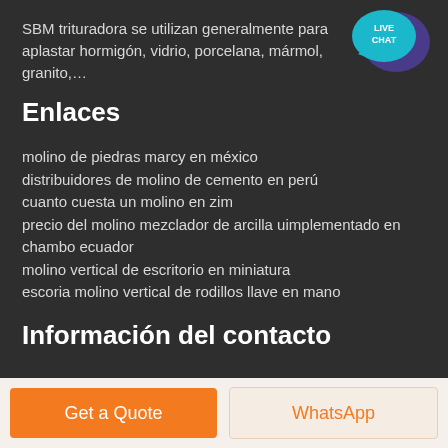SBM trituradora se utilizan generalmente para aplastar hormigón, vidrio, porcelana, mármol, granito,…
[Figure (illustration): Live Chat bubble icon in teal/blue colors with text LIVE CHAT]
Enlaces
molino de piedras marcy en méxico
distribuidores de molino de cemento en perú
cuanto cuesta un molino en zim
precio del molino mezclador de arcilla uimplementado en chambo ecuador
molino vertical de escritorio en miniatura
escoria molino vertical de rodillos llave en mano
Información del contacto
Get a Quote
WhatsApp